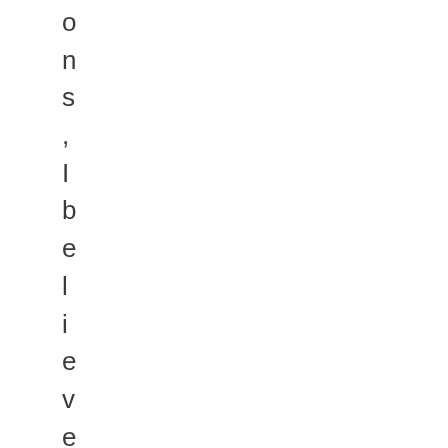ons, I believe more and more p